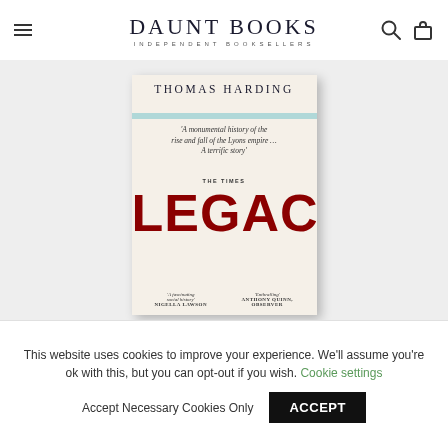DAUNT BOOKS INDEPENDENT BOOKSELLERS
[Figure (photo): Book cover of 'Legacy' by Thomas Harding. Cream background with author name at top, a quote reading 'A monumental history of the rise and fall of the Lyons empire... A terrific story' — THE TIMES, large red bold LEGACY title in centre, blurbs from Nigella Lawson and Anthony Quinn Observer at bottom.]
This website uses cookies to improve your experience. We'll assume you're ok with this, but you can opt-out if you wish. Cookie settings Accept Necessary Cookies Only ACCEPT